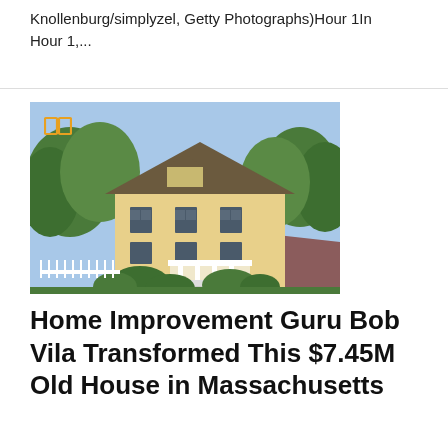Knollenburg/simplyzel, Getty Photographs)Hour 1In Hour 1,...
[Figure (photo): Aerial view of a large yellow colonial-style house with dark shutters, surrounded by lush green trees, with a brick driveway and white picket fence. A small book/read icon overlay appears in the top-left corner of the image.]
Home Improvement Guru Bob Vila Transformed This $7.45M Old House in Massachusetts